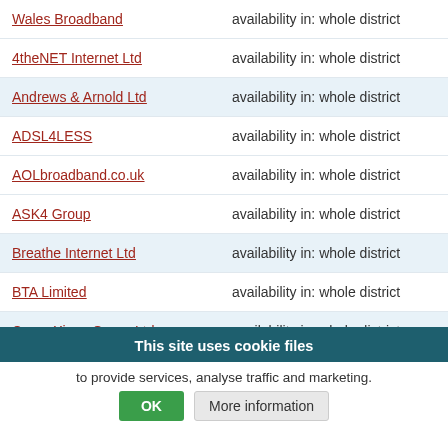Wales Broadband — availability in: whole district
4theNET Internet Ltd — availability in: whole district
Andrews & Arnold Ltd — availability in: whole district
ADSL4LESS — availability in: whole district
AOLbroadband.co.uk — availability in: whole district
ASK4 Group — availability in: whole district
Breathe Internet Ltd — availability in: whole district
BTA Limited — availability in: whole district
ConneXions Group Ltd — availability in: whole district
Chess Telecom — availability in: whole district
Chilli Mint Labs Limited — availability in: whole district
This site uses cookie files
to provide services, analyse traffic and marketing.
OK | More information